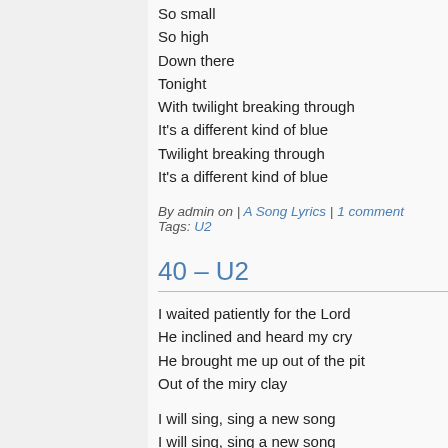So small
So high
Down there
Tonight
With twilight breaking through
It's a different kind of blue
Twilight breaking through
It's a different kind of blue
By admin on | A Song Lyrics | 1 comment
Tags: U2
40 – U2
I waited patiently for the Lord
He inclined and heard my cry
He brought me up out of the pit
Out of the miry clay
I will sing, sing a new song
I will sing, sing a new song
How long to sing this song
How long to sing this song
How long…how long…how long…
How long…to sing this song